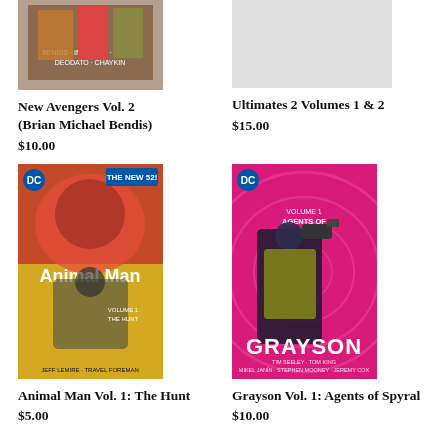[Figure (photo): Comic book cover for New Avengers Vol. 2 by Brian Michael Bendis, partial view cropped at top]
New Avengers Vol. 2 (Brian Michael Bendis)
$10.00
[Figure (photo): Comic book cover for Ultimates 2 Volumes 1 & 2, partial grey placeholder]
Ultimates 2 Volumes 1 & 2
$15.00
[Figure (photo): Animal Man Vol. 1: The Hunt comic book cover - yellow background with New 52 DC logo]
Animal Man Vol. 1: The Hunt
$5.00
[Figure (photo): Grayson Vol. 1: Agents of Spyral comic book cover - pink/magenta background with character holding gun]
Grayson Vol. 1: Agents of Spyral
$10.00